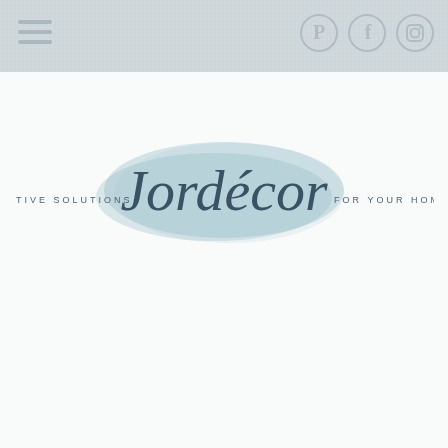Navigation bar with hamburger menu and social icons (Pinterest, Facebook, Instagram)
[Figure (logo): Jordecor logo: script/cursive text 'Jordécor' on teal watercolor splash, flanked by 'CREATIVE SOLUTIONS' on the left and 'FOR YOUR HOME' on the right in spaced uppercase sans-serif]